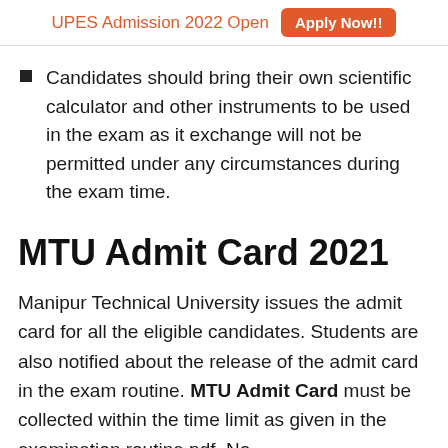UPES Admission 2022 Open  Apply Now!!
Candidates should bring their own scientific calculator and other instruments to be used in the exam as it exchange will not be permitted under any circumstances during the exam time.
MTU Admit Card 2021
Manipur Technical University issues the admit card for all the eligible candidates. Students are also notified about the release of the admit card in the exam routine. MTU Admit Card must be collected within the time limit as given in the examination routine pdf. No